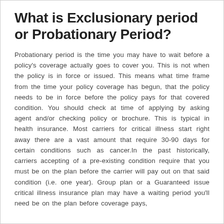What is Exclusionary period or Probationary Period?
Probationary period is the time you may have to wait before a policy's coverage actually goes to cover you. This is not when the policy is in force or issued. This means what time frame from the time your policy coverage has begun, that the policy needs to be in force before the policy pays for that covered condition. You should check at time of applying by asking agent and/or checking policy or brochure. This is typical in health insurance. Most carriers for critical illness start right away there are a vast amount that require 30-90 days for certain conditions such as cancer.In the past historically, carriers accepting of a pre-existing condition require that you must be on the plan before the carrier will pay out on that said condition (i.e. one year). Group plan or a Guaranteed issue critical illness insurance plan may have a waiting period you'll need be on the plan before coverage pays,